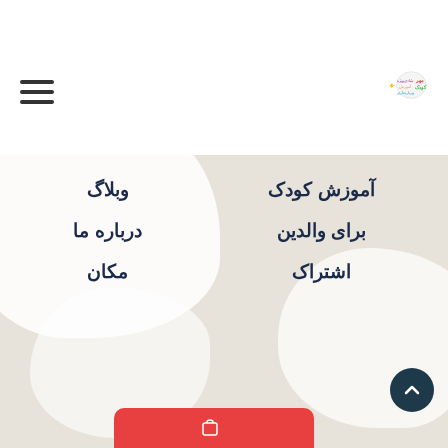[Figure (logo): Colorful children education website logo with Persian text]
09156000061
خرید اشتراک
آموزش کودک
برای والدین
اشتراک
وبلاگ
درباره ما
مکان